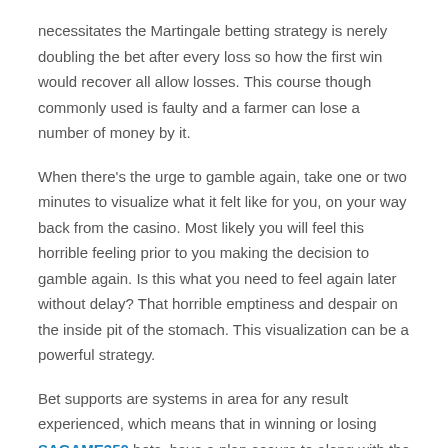necessitates the Martingale betting strategy is nerely doubling the bet after every loss so how the first win would recover all allow losses. This course though commonly used is faulty and a farmer can lose a number of money by it.
When there's the urge to gamble again, take one or two minutes to visualize what it felt like for you, on your way back from the casino. Most likely you will feel this horrible feeling prior to you making the decision to gamble again. Is this what you need to feel again later without delay? That horrible emptiness and despair on the inside pit of the stomach. This visualization can be a powerful strategy.
Bet supports are systems in area for any result experienced, which means that in winning or losing SAGAME350 bets, have a plan secure to along with the results. I always like doubling on winning bets and halving on losing bets, this is the great connected with holding the bankroll within it's prime state.